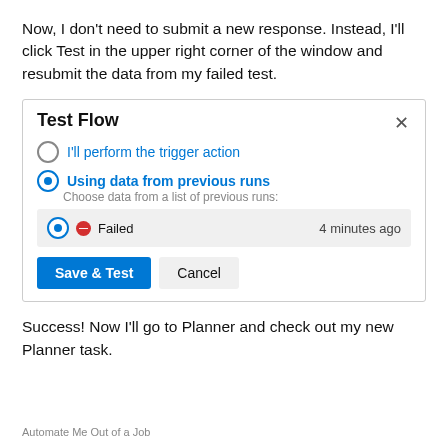Now, I don't need to submit a new response. Instead, I'll click Test in the upper right corner of the window and resubmit the data from my failed test.
[Figure (screenshot): A 'Test Flow' dialog screenshot showing two radio button options: 'I'll perform the trigger action' (unselected) and 'Using data from previous runs' (selected, with sub-label 'Choose data from a list of previous runs:'). Below is a gray box with a selected radio, a red stop-circle icon, text 'Failed', and '4 minutes ago' on the right. Two buttons: 'Save & Test' (blue) and 'Cancel' (light gray). A close X is in the top-right of the dialog.]
Success! Now I'll go to Planner and check out my new Planner task.
Automate Me Out of a Job